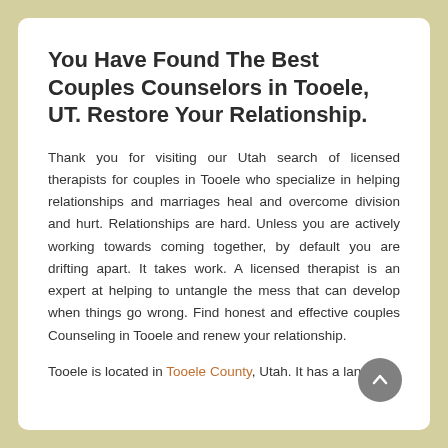You Have Found The Best Couples Counselors in Tooele, UT. Restore Your Relationship.
Thank you for visiting our Utah search of licensed therapists for couples in Tooele who specialize in helping relationships and marriages heal and overcome division and hurt. Relationships are hard. Unless you are actively working towards coming together, by default you are drifting apart. It takes work. A licensed therapist is an expert at helping to untangle the mess that can develop when things go wrong. Find honest and effective couples Counseling in Tooele and renew your relationship.
Tooele is located in Tooele County, Utah. It has a land